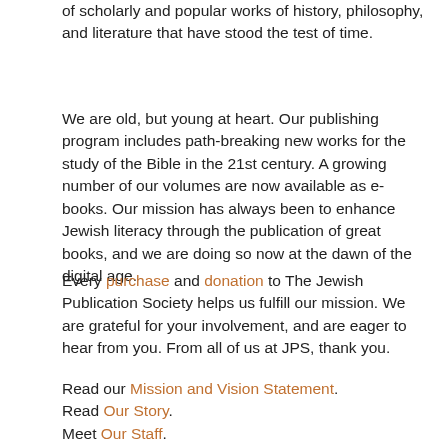of scholarly and popular works of history, philosophy, and literature that have stood the test of time.
We are old, but young at heart. Our publishing program includes path-breaking new works for the study of the Bible in the 21st century. A growing number of our volumes are now available as e-books. Our mission has always been to enhance Jewish literacy through the publication of great books, and we are doing so now at the dawn of the digital age.
Every purchase and donation to The Jewish Publication Society helps us fulfill our mission. We are grateful for your involvement, and are eager to hear from you. From all of us at JPS, thank you.
Read our Mission and Vision Statement.
Read Our Story.
Meet Our Staff.
Meet Our Board of Trustees.